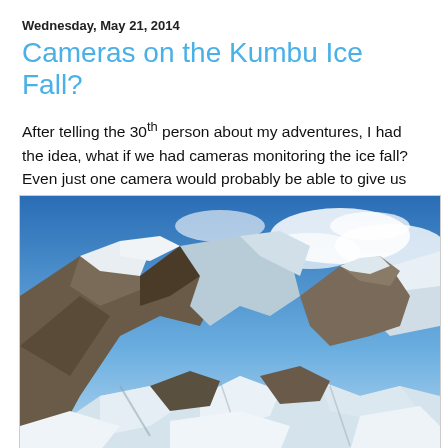Wednesday, May 21, 2014
Cameras on the Kumbu Ice Fall?
After telling the 30th person about my adventures, I had the idea, what if we had cameras monitoring the ice fall? Even just one camera would probably be able to give us quite a lot of information. I took the picture below on April 16th about 45 hours before the avalanche happened.
[Figure (photo): Photograph of the Khumbu Icefall area showing steep rocky and snow-covered mountain faces with blue sky and clouds above, taken on April 16th approximately 45 hours before an avalanche.]